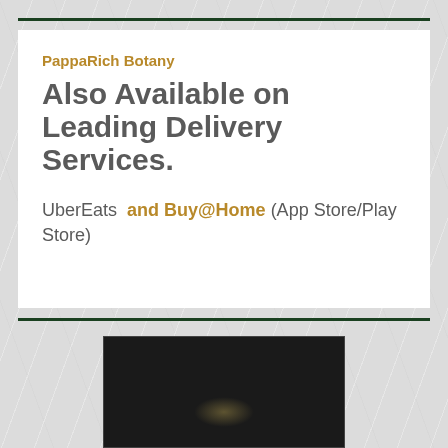PappaRich Botany
Also Available on Leading Delivery Services.
UberEats and Buy@Home (App Store/Play Store)
[Figure (photo): Dark background photo showing a restaurant setting with dim golden/amber lights visible in the lower portion]